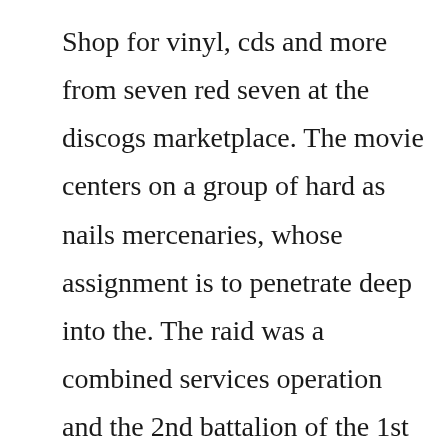Shop for vinyl, cds and more from seven red seven at the discogs marketplace. The movie centers on a group of hard as nails mercenaries, whose assignment is to penetrate deep into the. The raid was a combined services operation and the 2nd battalion of the 1st parachute brigade was led by major john frost major snow. Testimony ferron 1980 for this movie is about rape. Movie centers around a group of hard as nails mercenaries whose assignment is to penetrate deep into the jungles of the congo to retrieve. Green berets 1967...